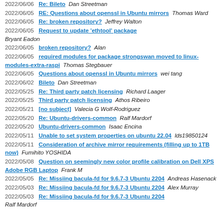2022/06/06  Re: Bileto  Dan Streetman
2022/06/05  RE: Questions about openssl in Ubuntu mirrors  Thomas Ward
2022/06/05  Re: broken repository?  Jeffrey Walton
2022/06/05  Request to update 'ethtool' package  Bryant Eadon
2022/06/05  broken repository?  Alan
2022/06/05  required modules for package strongswan moved to linux-modules-extra-raspi  Thomas Stegbauer
2022/06/05  Questions about openssl in Ubuntu mirrors  wei tang
2022/06/02  Bileto  Dan Streetman
2022/05/25  Re: Third party patch licensing  Richard Laager
2022/05/25  Third party patch licensing  Athos Ribeiro
2022/05/21  [no subject]  Valecia G Wolf-Rodriguez
2022/05/20  Re: Ubuntu-drivers-common  Ralf Mardorf
2022/05/20  Ubuntu-drivers-common  Isaac Encina
2022/05/11  Unable to set system properties on ubuntu 22.04  lds19850124
2022/05/11  Consideration of archive mirror requirements (filling up to 1TB now)  Fumihito YOSHIDA
2022/05/08  Question on seemingly new color profile calibration on Dell XPS Adobe RGB Laptop  Frank M
2022/05/05  Re: Missiing bacula-fd for 9.6.7-3 Ubuntu 2204  Andreas Hasenack
2022/05/03  Re: Missiing bacula-fd for 9.6.7-3 Ubuntu 2204  Alex Murray
2022/05/03  Re: Missiing bacula-fd for 9.6.7-3 Ubuntu 2204  Ralf Mardorf